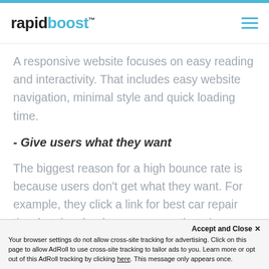rapidboost™
A responsive website focuses on easy reading and interactivity. That includes easy website navigation, minimal style and quick loading time.
- Give users what they want
The biggest reason for a high bounce rate is because users don't get what they want. For example, they click a link for best car repair tips, but they land up on a page that gives
Accept and Close ×
Your browser settings do not allow cross-site tracking for advertising. Click on this page to allow AdRoll to use cross-site tracking to tailor ads to you. Learn more or opt out of this AdRoll tracking by clicking here. This message only appears once.